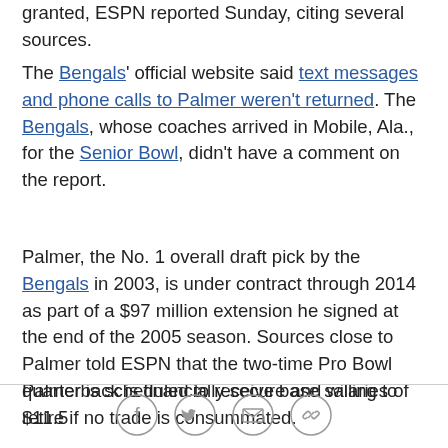granted, ESPN reported Sunday, citing several sources.
The Bengals' official website said text messages and phone calls to Palmer weren't returned. The Bengals, whose coaches arrived in Mobile, Ala., for the Senior Bowl, didn't have a comment on the report.
Palmer, the No. 1 overall draft pick by the Bengals in 2003, is under contract through 2014 as part of a $97 million extension he signed at the end of the 2005 season. Sources close to Palmer told ESPN that the two-time Pro Bowl quarterback is financially secure and willing to retire if no trade is consummated.
Palmer is scheduled to receive base salaries of $11.5
[Figure (other): Social sharing icons: Facebook, Twitter, email, and a link/chain icon, arranged horizontally in a row of circular outlined buttons.]